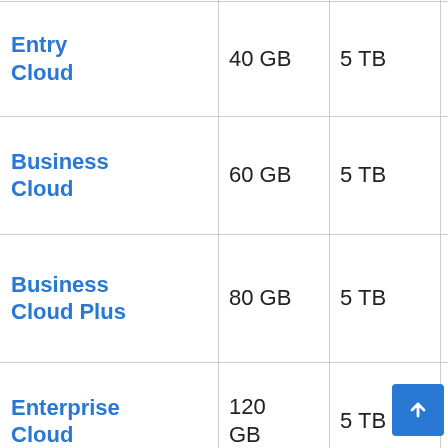| Plan | Storage | Traffic | CPU | RAM |
| --- | --- | --- | --- | --- |
| Entry Cloud | 40 GB | 5 TB | 2 CPU Cores | 4 G |
| Business Cloud | 60 GB | 5 TB | 3 CPU Cores | 6 G |
| Business Cloud Plus | 80 GB | 5 TB | 4 CPU Cores | 8 G |
| Enterprise Cloud | 120 GB | 5 TB | 8 CPU Cores | 10 G |